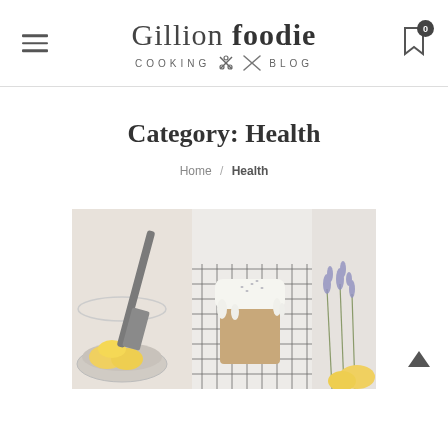[Figure (logo): Gillion foodie COOKING BLOG logo with hamburger menu and bookmark/cart icon]
Category: Health
Home / Health
[Figure (photo): Food photography showing a frosted loaf cake on a wire cooling rack, a cake server with lemons in a bowl on the left, and lavender sprigs on the right]